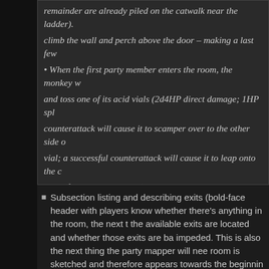remainder are already piled on the catwalk near the ladder). climb the wall and perch above the door – making a last few • When the first party member enters the room, the monkey w and toss one of its acid vials (2d4HP direct damage; 1HP spl counterattack will cause it to scamper over to the other side c vial; a successful counterattack will cause it to leap onto the c cover from missile attacks)
Subsection listing and describing exits (bold-face header with players know whether there's anything in the room, the next t the available exits are located and whether those exits are ba impeded. This is also the next thing the party mapper will nee room is sketched and therefore appears towards the beginnin
Series of subsections listing items of interest (bold-face head last thing a DM must provide players is a list of miscellaneous interacted with or investigated. My intention here is that only t during the initial room description and that the additional infor would only be disclosed if the party spends time (i.e., expend the item in question. So, in our example, the DM would let the covered in items, a counter, and a closet in the shop. In most interested in seeing exactly what's on the shelves and choos those; at that point only they would learn that these contain o